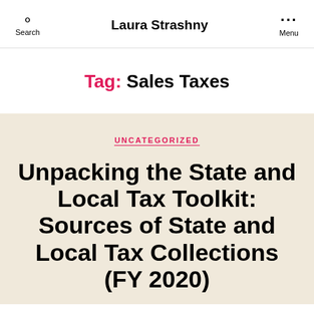Search | Laura Strashny | Menu
Tag: Sales Taxes
UNCATEGORIZED
Unpacking the State and Local Tax Toolkit: Sources of State and Local Tax Collections (FY 2020)